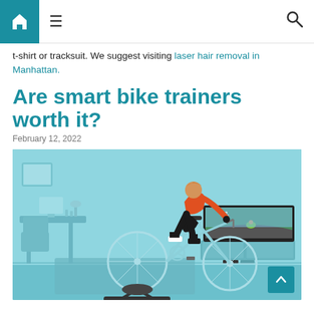Navigation bar with home icon, menu icon, and search icon
t-shirt or tracksuit. We suggest visiting laser hair removal in Manhattan.
Are smart bike trainers worth it?
February 12, 2022
[Figure (photo): Person in orange jersey riding a bicycle on an indoor smart trainer in a light blue room, with a TV screen showing a virtual cycling game (Zwift-style) in the background.]